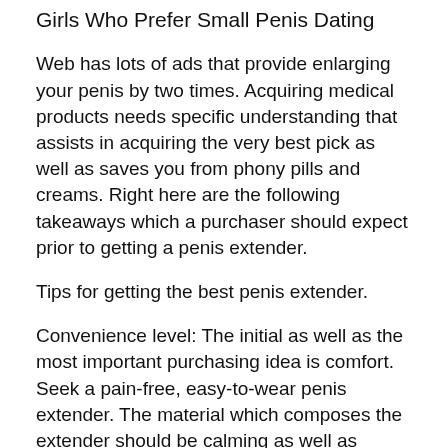Girls Who Prefer Small Penis Dating
Web has lots of ads that provide enlarging your penis by two times. Acquiring medical products needs specific understanding that assists in acquiring the very best pick as well as saves you from phony pills and creams. Right here are the following takeaways which a purchaser should expect prior to getting a penis extender.
Tips for getting the best penis extender.
Convenience level: The initial as well as the most important purchasing idea is comfort. Seek a pain-free, easy-to-wear penis extender. The material which composes the extender should be calming as well as